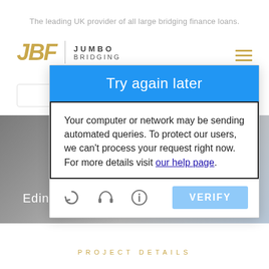The leading UK provider of all large bridging finance loans.
[Figure (logo): JBF Jumbo Bridging logo with gold italic letters and text divider]
[Figure (screenshot): Google CAPTCHA modal dialog showing 'Try again later' header in blue, error message text, icons, and VERIFY button over a website background with Edinburgh city photo]
Your computer or network may be sending automated queries. To protect our users, we can't process your request right now. For more details visit our help page.
PROJECT DETAILS